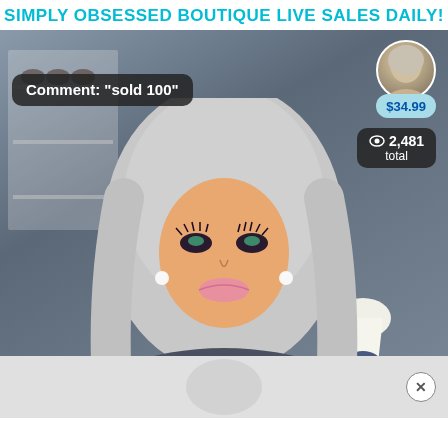SIMPLY OBSESSED BOUTIQUE LIVE SALES DAILY!
[Figure (screenshot): Live sale video screenshot showing a woman with silver/blonde hair and dramatic makeup, with overlay UI elements: a comment bubble reading 'Comment: "sold 100"', a profile circle photo in top right, a price tag showing $34.99, and a viewer count showing 2,481 total. Bottom shows a partially visible advertisement strip with a close (X) button.]